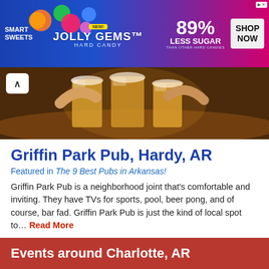[Figure (photo): Advertisement banner for SmartSweets Jolly Gems Hard Candy showing colorful candy pieces, 89% Less Sugar than other hard candies, with Shop Now button]
[Figure (photo): Photo of beer glasses being clinked together at a pub, warm amber lighting, dark background]
Griffin Park Pub, Hardy, AR
Featured in The 9 Best Pubs in Arkansas!
Griffin Park Pub is a neighborhood joint that’s comfortable and inviting. They have TVs for sports, pool, beer pong, and of course, bar fad. Griffin Park Pub is just the kind of local spot to… Read More
Show More
Events around Charlotte, AR